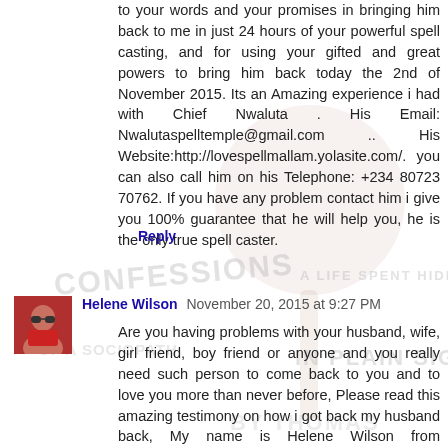to your words and your promises in bringing him back to me in just 24 hours of your powerful spell casting, and for using your gifted and great powers to bring him back today the 2nd of November 2015. Its an Amazing experience i had with Chief Nwaluta . His Email: Nwalutaspelltemple@gmail.com .. His Website:http://lovespellmallam.yolasite.com/. you can also call him on his Telephone: +234 80723 70762. If you have any problem contact him i give you 100% guarantee that he will help you, he is the only true spell caster.
Reply
[Figure (photo): Watermark text overlay: CONFESSIONS A LIFE SPENT HIDING OF A SOCIOPATH IN PLAIN SIGHT BY THOMAS (handwritten style, light gray)]
Helene Wilson November 20, 2015 at 9:27 PM
Are you having problems with your husband, wife, girl friend, boy friend or anyone and you really need such person to come back to you and to love you more than never before, Please read this amazing testimony on how i got back my husband back, My name is Helene Wilson from London,UK, I'm happily married to a lovely and caring husband with two kids. A very big problem occurred in my family seven months ago between me and my husband. so